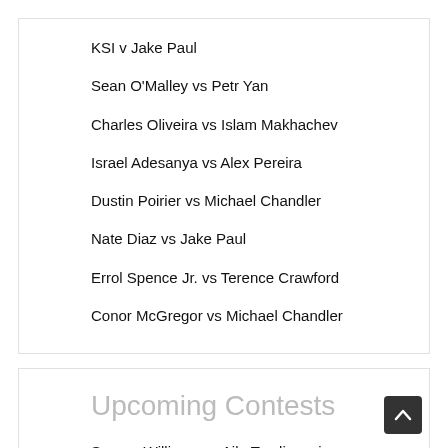KSI v Jake Paul
Sean O'Malley vs Petr Yan
Charles Oliveira vs Islam Makhachev
Israel Adesanya vs Alex Pereira
Dustin Poirier vs Michael Chandler
Nate Diaz vs Jake Paul
Errol Spence Jr. vs Terence Crawford
Conor McGregor vs Michael Chandler
Upcoming Contests
Serena Williams vs Ajla Tomljanovic
Canelo Alvarez vs Gennadiy Golovkin 3